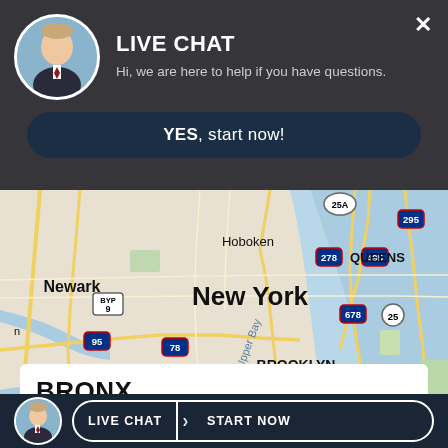LIVE CHAT
Hi, we are here to help if you have questions.
YES, start now!
[Figure (map): Street map of New York City area showing Newark, Hoboken, Queens, Brooklyn, Elizabeth, and surrounding areas with highway markers including I-95, I-278, I-495, I-295, Route 678, Route 25, Route 27, Route 78, Route 9, marked with blue water bodies of Upper Bay and surrounding waters.]
BRONX
14...
LIVE CHAT | START NOW